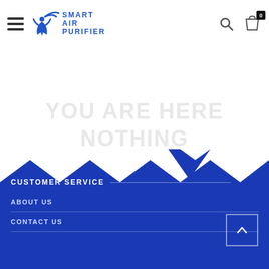Smart Air Purifier - navigation header with hamburger menu, logo, search and cart icons
[Figure (screenshot): Faint ghost/watermark text in light gray reading large heading text in background of white content area]
[Figure (infographic): Blue footer with zigzag/chevron top border decoration in dark blue on royal blue background]
CUSTOMER SERVICE
ABOUT US
CONTACT US